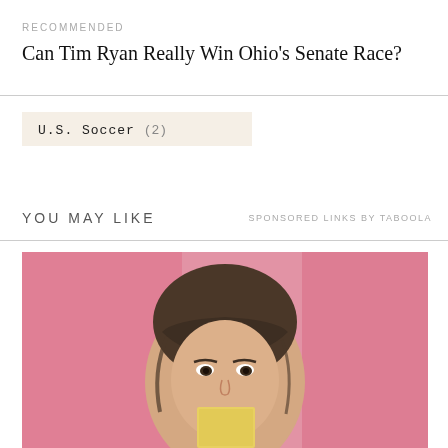RECOMMENDED
Can Tim Ryan Really Win Ohio’s Senate Race?
U.S. Soccer (2)
YOU MAY LIKE
SPONSORED LINKS BY TABOOLA
[Figure (photo): A young woman with dark hair and bangs pulled up, smiling slightly, holding a small yellow card/note in front of a pink background]